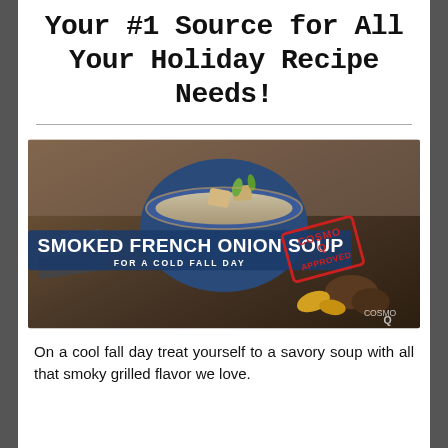Your #1 Source for All Your Holiday Recipe Needs!
[Figure (photo): A bowl of smoked French onion soup topped with croutons and green onions, surrounded by autumn decorations including pine cones and fall leaves. Text overlay reads 'SMOKED FRENCH ONION SOUP FOR A COLD FALL DAY' with a 'Cosmo Approved' stamp.]
On a cool fall day treat yourself to a savory soup with all that smoky grilled flavor we love.